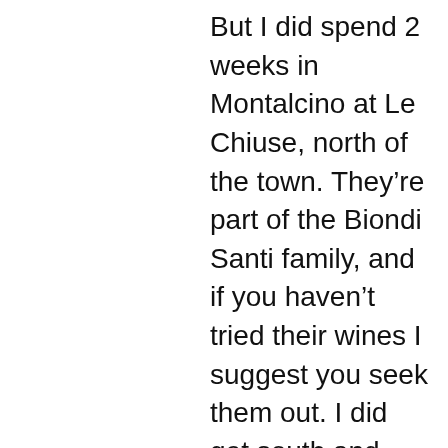But I did spend 2 weeks in Montalcino at Le Chiuse, north of the town. They're part of the Biondi Santi family, and if you haven't tried their wines I suggest you seek them out. I did get south and very close to Collosorbo, and ate at a very cute and cozy restaurant just a 1/4 mile from there, and love the area. Maybe I had Collosorbo wine at the